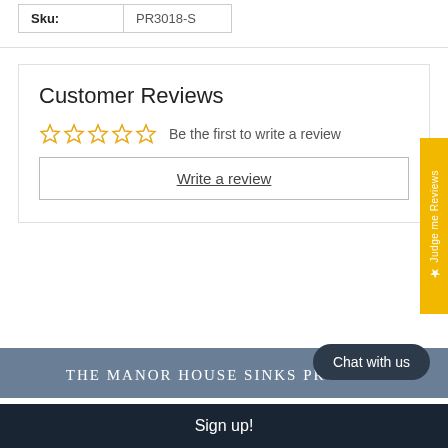| Sku: | PR3018-S |
| --- | --- |
Customer Reviews
Be the first to write a review
Write a review
Judge me Reviews
The Manor House Sinks Promise
Chat with us
Sign up!